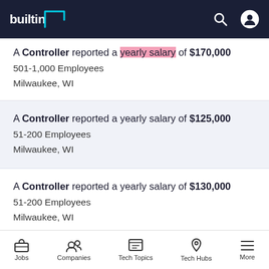builtin [logo]
A Controller reported a yearly salary of $170,000 — 501-1,000 Employees — Milwaukee, WI
A Controller reported a yearly salary of $125,000 — 51-200 Employees — Milwaukee, WI
A Controller reported a yearly salary of $130,000 — 51-200 Employees — Milwaukee, WI
A Controller reported a yearly salary of $130,000 — 51-200 Employees
Jobs | Companies | Tech Topics | Tech Hubs | More